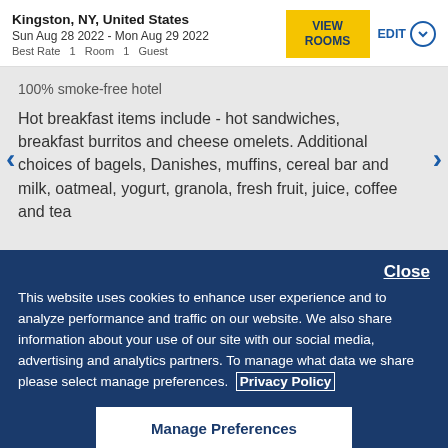Kingston, NY, United States
Sun Aug 28 2022 - Mon Aug 29 2022
Best Rate  1  Room  1  Guest
100% smoke-free hotel
Hot breakfast items include - hot sandwiches, breakfast burritos and cheese omelets. Additional choices of bagels, Danishes, muffins, cereal bar and milk, oatmeal, yogurt, granola, fresh fruit, juice, coffee and tea
Close
This website uses cookies to enhance user experience and to analyze performance and traffic on our website. We also share information about your use of our site with our social media, advertising and analytics partners. To manage what data we share please select manage preferences. Privacy Policy
Manage Preferences